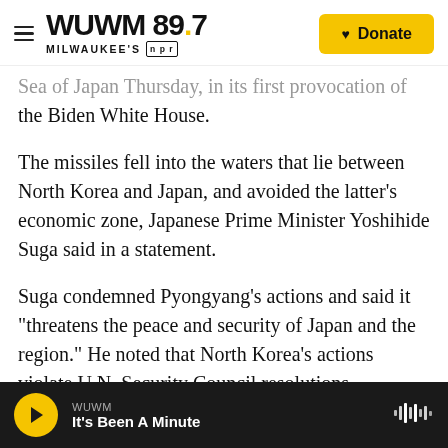WUWM 89.7 MILWAUKEE'S NPR — Donate
Sea of Japan Thursday, in its first provocation of the Biden White House.
The missiles fell into the waters that lie between North Korea and Japan, and avoided the latter's economic zone, Japanese Prime Minister Yoshihide Suga said in a statement.
Suga condemned Pyongyang's actions and said it "threatens the peace and security of Japan and the region." He noted that North Korea's actions violate U.N. Security Council resolutions.
Thursday's launch was the first ballistic missile test
WUWM — It's Been A Minute